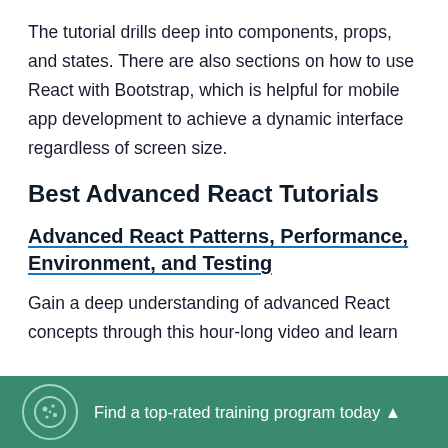The tutorial drills deep into components, props, and states. There are also sections on how to use React with Bootstrap, which is helpful for mobile app development to achieve a dynamic interface regardless of screen size.
Best Advanced React Tutorials
Advanced React Patterns, Performance, Environment, and Testing
Gain a deep understanding of advanced React concepts through this hour-long video and learn
Find a top-rated training program today ▲